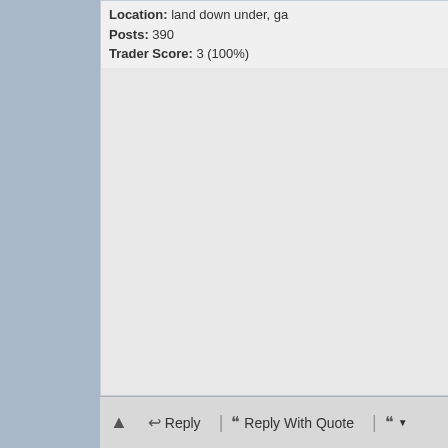Location: land down under, ga
Posts: 390
Trader Score: 3 (100%)
numbers seem about right, i maybe wrong though.

check the batt voltage with car running also!

p.s that was with the car running right?
yessir
0 Likes
Be the first to like this post.
LIFES @ 140 MPH
Reply | Reply With Quote